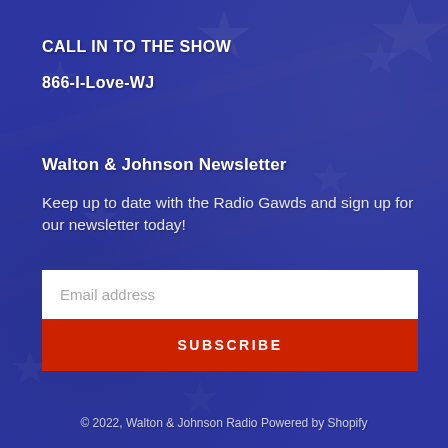CALL IN TO THE SHOW
866-I-Love-WJ
Walton & Johnson Newsletter
Keep up to date with the Radio Gawds and sign up for our newsletter today!
Email address
SUBSCRIBE
© 2022, Walton & Johnson Radio Powered by Shopify